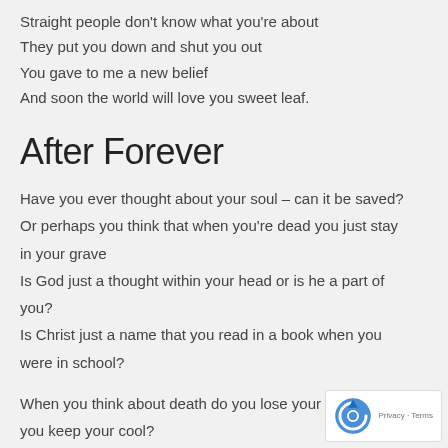Straight people don't know what you're about They put you down and shut you out You gave to me a new belief And soon the world will love you sweet leaf.
After Forever
Have you ever thought about your soul – can it be saved? Or perhaps you think that when you're dead you just stay in your grave Is God just a thought within your head or is he a part of you? Is Christ just a name that you read in a book when you were in school?
When you think about death do you lose your breath or you keep your cool?